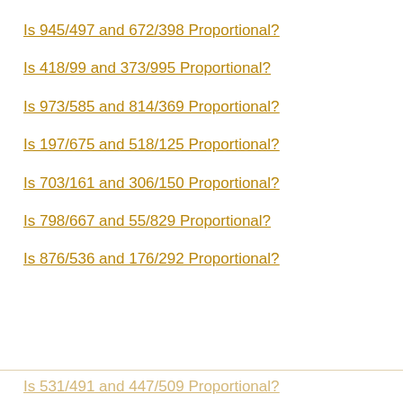Is 945/497 and 672/398 Proportional?
Is 418/99 and 373/995 Proportional?
Is 973/585 and 814/369 Proportional?
Is 197/675 and 518/125 Proportional?
Is 703/161 and 306/150 Proportional?
Is 798/667 and 55/829 Proportional?
Is 876/536 and 176/292 Proportional?
Is 531/491 and 447/509 Proportional?